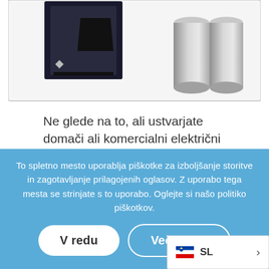[Figure (photo): Product photo showing electrical components - a dark box/device on the left and two silver cylindrical components on the right, on a white background with a gray border frame.]
Ne glede na to, ali ustvarjate domači ali komercialni električni tokokrož s številnimi porabniki, je vedno prostor za avtomatizirane krmilnike, odklopnike in stikala z možnostmi daljinskega upravljanja.
To spletno mesto uporablja piškotke za izboljšanje storitve in zagotavljanje prilagojenih oglasov. Z uporabo tega mesta se strinjate s to uporabo. Oglejte si našo politiko piškotkov.
V redu
Več o tem
SL